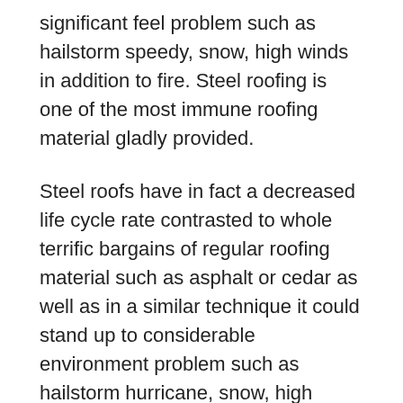significant feel problem such as hailstorm speedy, snow, high winds in addition to fire. Steel roofing is one of the most immune roofing material gladly provided.
Steel roofs have in fact a decreased life cycle rate contrasted to whole terrific bargains of regular roofing material such as asphalt or cedar as well as in a similar technique it could stand up to considerable environment problem such as hailstorm hurricane, snow, high winds as well as fire. Steel roofing is the most immune roofing material gladly provided.
Steel roofs have in reality a lowered life treatment rate as contrasted to numerous normal roofing material such as asphalt or cedar with each various other with it might deal with